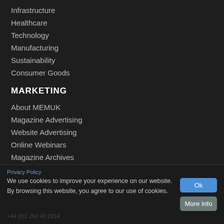Infrastructure
Healthcare
Technology
Manufacturing
Sustainability
Consumer Goods
MARKETING
About MEMUK
Magazine Advertising
Website Advertising
Online Webinars
Magazine Archives
Privacy Policy
We use cookies to improve your experience on our website. By browsing this website, you agree to our use of cookies.
+44 (0)1 263 43 2914